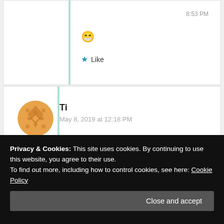8:53 PM
[Figure (illustration): Grinning face emoji 😁]
★ Like
Ti
May 8, 2019 at 12:18 PM
I recall an episode of Everybody Loves Raymond where the wife and the MIL get into it over
Privacy & Cookies: This site uses cookies. By continuing to use this website, you agree to their use.
To find out more, including how to control cookies, see here: Cookie Policy
Close and accept